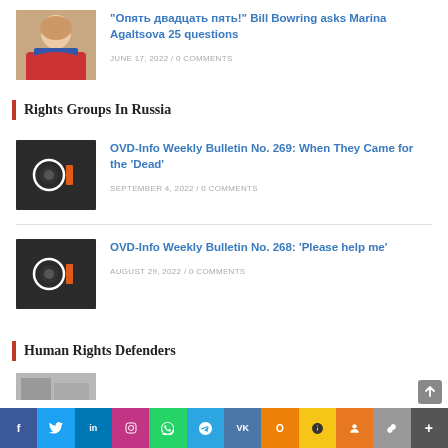[Figure (photo): Photo of a woman with red scarf, smiling]
“Опять двадцать пять!” Bill Bowring asks Marina Agaltsova 25 questions
JUNE 17, 2022 / 0 COMMENTS
Rights Groups In Russia
[Figure (logo): OVD-Info logo on dark background]
OVD-Info Weekly Bulletin No. 269: When They Came for the ‘Dead’
SEPTEMBER 4, 2022 / 0 COMMENTS
[Figure (logo): OVD-Info logo on dark background]
OVD-Info Weekly Bulletin No. 268: ‘Please help me’
AUGUST 29, 2022 / 0 COMMENTS
Human Rights Defenders
[Figure (photo): Partially visible photo thumbnail]